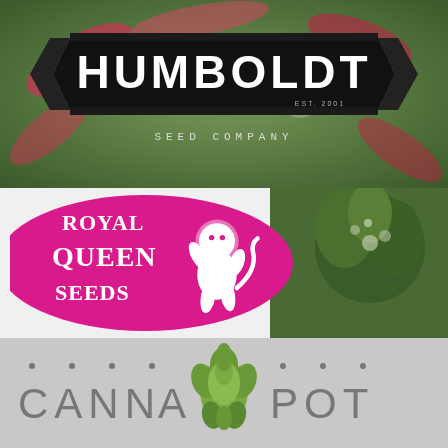[Figure (logo): Humboldt Seed Company logo on a dark banner ribbon with pink/red cannabis plant background. White serif/display text reads HUMBOLDT in large letters, with SEED COMPANY and EST. 2001 below the banner.]
[Figure (logo): Royal Queen Seeds logo on a magenta/pink rounded rectangle background with a white heraldic lion mascot. Text reads ROYAL QUEEN SEEDS in white serif font. Right side shows a cannabis plant bud on dark green background.]
[Figure (logo): Cannapot logo on a light gray background. Text reads CANNA POT in gray spaced letters with a green cannabis/artichoke bud icon in the center between the two words.]